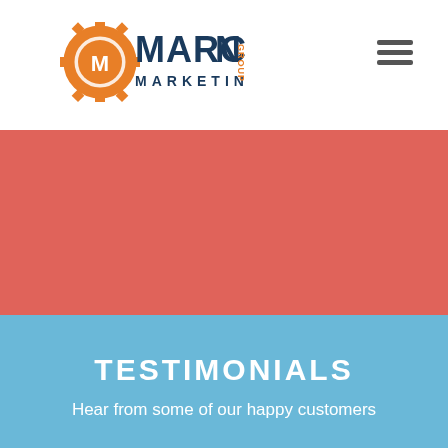Marcon Marketing Group
[Figure (logo): Marcon Marketing Group logo with gear icon and orange M inside, blue text MARCON and MARKETING with orange GROUP text vertically on right]
[Figure (other): Hamburger menu icon (three horizontal lines)]
[Figure (photo): Large salmon/coral red colored banner section]
TESTIMONIALS
Hear from some of our happy customers